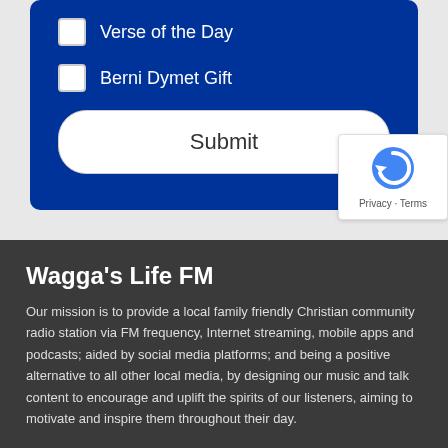Verse of the Day
Berni Dymet Gift
Submit
[Figure (other): reCAPTCHA badge with Privacy and Terms links]
Wagga’s Life FM
Our mission is to provide a local family friendly Christian community radio station via FM frequency, Internet streaming, mobile apps and podcasts; aided by social media platforms; and being a positive alternative to all other local media, by designing our music and talk content to encourage and uplift the spirits of our listeners, aiming to motivate and inspire them throughout their day.